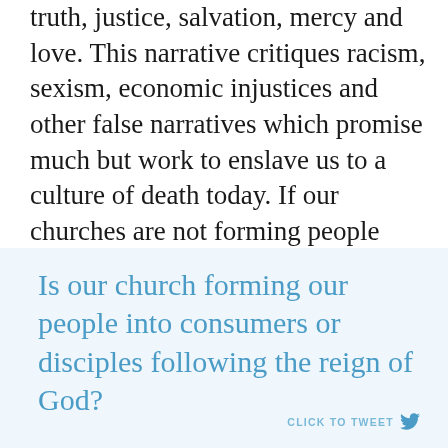truth, justice, salvation, mercy and love. This narrative critiques racism, sexism, economic injustices and other false narratives which promise much but work to enslave us to a culture of death today. If our churches are not forming people into disciples who embody the love of Jesus in our community then something is very wrong.
Is our church forming our people into consumers or disciples following the reign of God?
CLICK TO TWEET